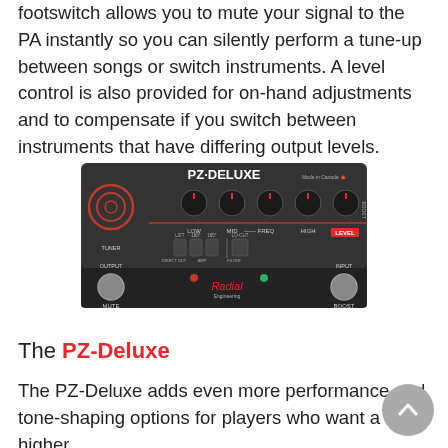footswitch allows you to mute your signal to the PA instantly so you can silently perform a tune-up between songs or switch instruments. A level control is also provided for on-hand adjustments and to compensate if you switch between instruments that have differing output levels.
[Figure (photo): Photo of the Radial PZ-Deluxe pedal, a black guitar pedal with knobs labeled LOW, MID, FREQ, HIGH, LEVEL, switches labeled LIFT, 180°, 180°, DIRECT OUT, AMP, LO-CUT, FILTER, input/output labels, TUNER, MUTE footswitch, BOOST footswitch, red and green indicator LEDs, and the Radial Engineering logo.]
The PZ-Deluxe
The PZ-Deluxe adds even more performance and tone-shaping options for players who want a higher